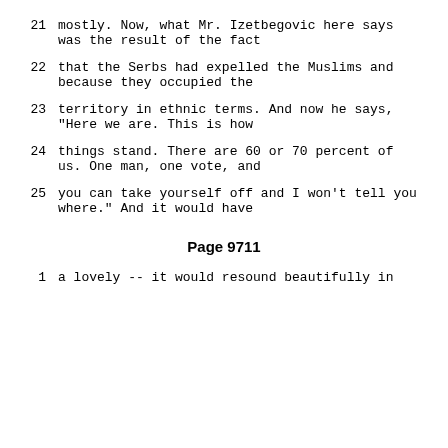21    mostly.  Now, what Mr. Izetbegovic here says was the result of the fact
22    that the Serbs had expelled the Muslims and because they occupied the
23    territory in ethnic terms.  And now he says, "Here we are.  This is how
24    things stand.  There are 60 or 70 percent of us.  One man, one vote, and
25    you can take yourself off and I won't tell you where."  And it would have
Page 9711
1    a lovely -- it would resound beautifully in